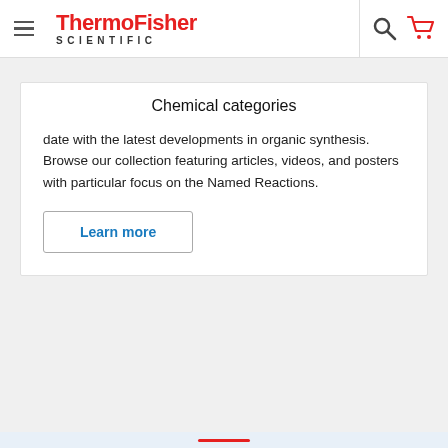[Figure (logo): ThermoFisher Scientific logo with hamburger menu, search icon, and cart icon in navigation bar]
Chemical categories
date with the latest developments in organic synthesis. Browse our collection featuring articles, videos, and posters with particular focus on the Named Reactions.
Learn more